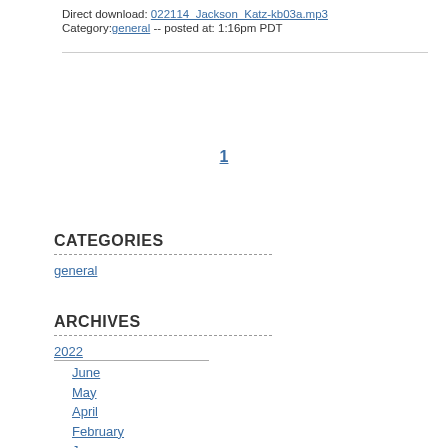Direct download: 022114_Jackson_Katz-kb03a.mp3
Category:general -- posted at: 1:16pm PDT
1
CATEGORIES
general
ARCHIVES
2022
June
May
April
February
January
2021
December
November
October
2020
February
2019
June
March
2018